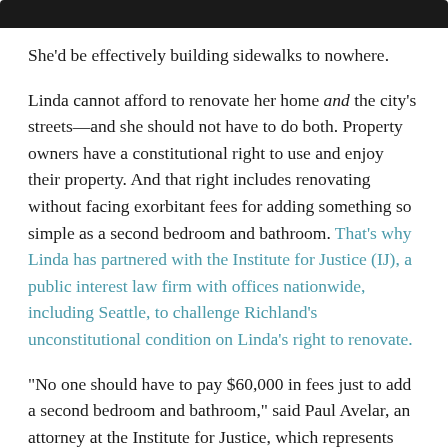[Figure (other): Black bar at top of page]
She'd be effectively building sidewalks to nowhere.
Linda cannot afford to renovate her home and the city's streets—and she should not have to do both. Property owners have a constitutional right to use and enjoy their property. And that right includes renovating without facing exorbitant fees for adding something so simple as a second bedroom and bathroom. That's why Linda has partnered with the Institute for Justice (IJ), a public interest law firm with offices nationwide, including Seattle, to challenge Richland's unconstitutional condition on Linda's right to renovate.
“No one should have to pay $60,000 in fees just to add a second bedroom and bathroom,” said Paul Avelar, an attorney at the Institute for Justice, which represents